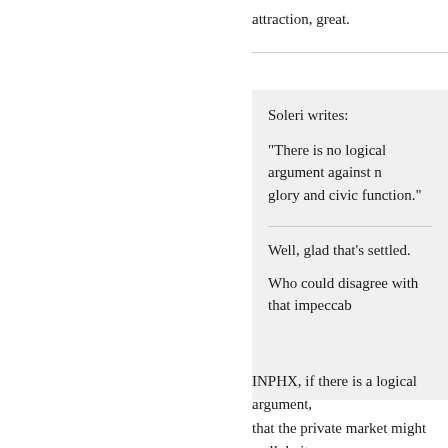attraction, great.
Soleri writes:

"There is no logical argument against n... glory and civic function."

Well, glad that's settled.

Who could disagree with that impeccab...
INPHX, if there is a logical argument, ... that the private market might well do it... where any number of boutique hotels h... without government subsidy. The "hum...